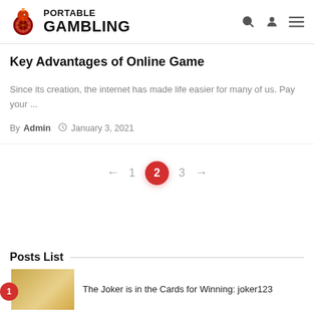PORTABLE GAMBLING
Key Advantages of Online Game
Since its creation, the internet has made life easier for many of us. Pay your ...
By Admin  January 3, 2021
← 1 2 3 →
Posts List
The Joker is in the Cards for Winning: joker123